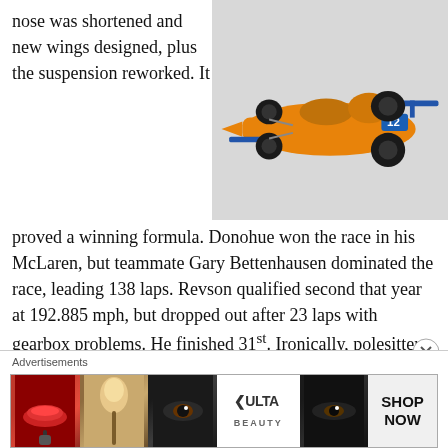nose was shortened and new wings designed, plus the suspension reworked. It
[Figure (photo): Orange McLaren Indy race car model, number 12, with blue accents, on a light grey background]
proved a winning formula. Donohue won the race in his McLaren, but teammate Gary Bettenhausen dominated the race, leading 138 laps. Revson qualified second that year at 192.885 mph, but dropped out after 23 laps with gearbox problems. He finished 31st. Ironically, polesitter Bobby Unser dropped out a few laps later to finish 30th, so the quickest two cars were eliminated early.
The Model
Advertisements
[Figure (photo): Advertisement banner for ULTA beauty showing makeup images and SHOP NOW text]